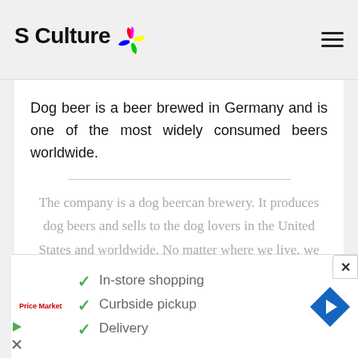S Culture
Dog beer is a beer brewed in Germany and is one of the most widely consumed beers worldwide.
The company is a dog beercan brewery. It produces dog beers and sells to the dog lovers in the United States and worldwide. No matter where we live, we can always find a
[Figure (infographic): Advertisement banner with Price Market logo showing: checkmark In-store shopping, checkmark Curbside pickup, checkmark Delivery, with a blue diamond navigation arrow icon and close button]